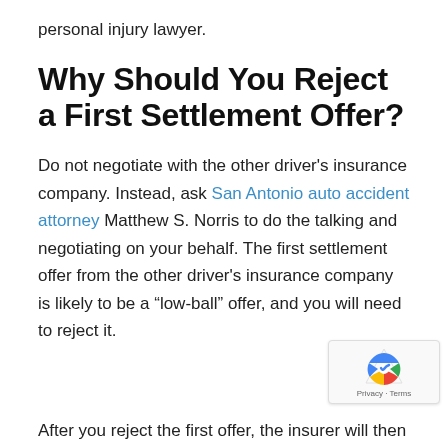personal injury lawyer.
Why Should You Reject a First Settlement Offer?
Do not negotiate with the other driver's insurance company. Instead, ask San Antonio auto accident attorney Matthew S. Norris to do the talking and negotiating on your behalf. The first settlement offer from the other driver's insurance company is likely to be a “low-ball” offer, and you will need to reject it.
After you reject the first offer, the insurer will then